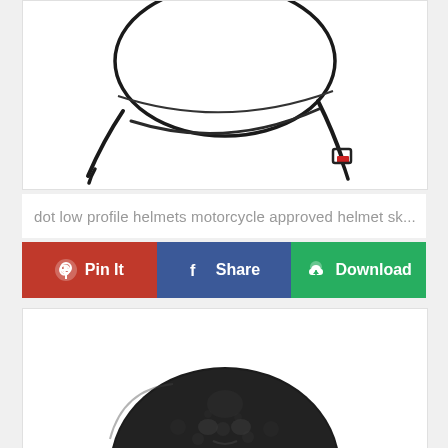[Figure (photo): Top portion of a black motorcycle helmet with chin strap visible, white background, partial view showing the top and back of the helmet with a red accent on the strap buckle]
dot low profile helmets motorcycle approved helmet sk...
[Figure (infographic): Social sharing button row: red Pinterest 'Pin It' button, blue Facebook 'Share' button, green 'Download' button with cloud/arrow icon]
[Figure (photo): Bottom portion of a dark/black motorcycle skull-patterned half helmet, viewed from above, partially cropped]